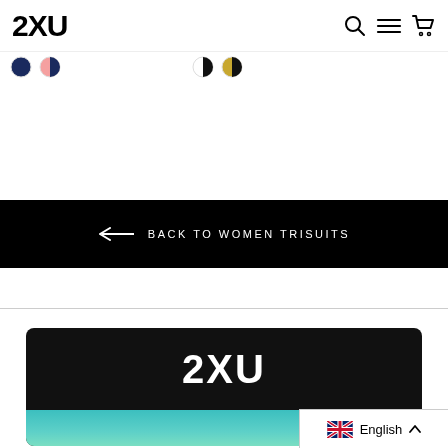2XU
[Figure (screenshot): Color swatches: navy circle and pink/coral half-circle swatch]
[Figure (screenshot): Color swatches: black/white half-circle and black/gold half-circle swatch]
← BACK TO WOMEN TRISUITS
[Figure (logo): 2XU logo on dark banner with outdoor photo below]
English